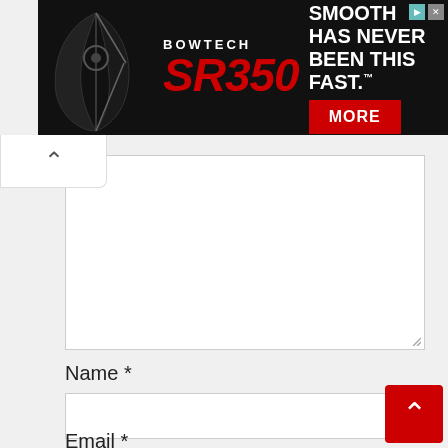[Figure (screenshot): Bowtech SR350 advertisement banner with black background, bow image on left, SR350 red italic logo, and 'SMOOTH HAS NEVER BEEN THIS FAST.' text with red MORE button on right]
[Figure (screenshot): Web form area showing a large empty comment textarea with resize handle, a Name field label with asterisk, an empty name input box, and partial Email label with asterisk at bottom]
Name *
Email *